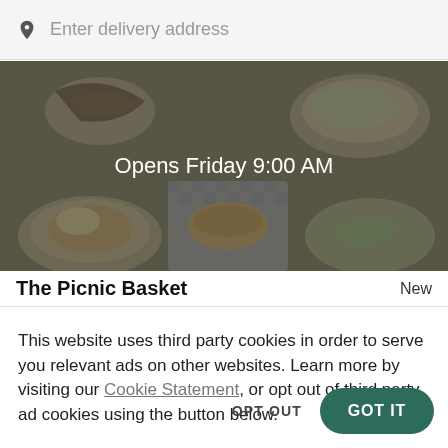Enter delivery address
[Figure (photo): Overhead photo of various food dishes including sandwiches, wraps, and salads on plates and checkered paper, with dark overlay. Text overlay reads 'Opens Friday 9:00 AM']
The Picnic Basket
New
This website uses third party cookies in order to serve you relevant ads on other websites. Learn more by visiting our Cookie Statement, or opt out of third party ad cookies using the button below.